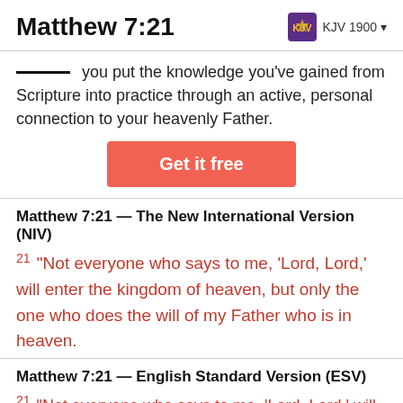Matthew 7:21
KJV 1900
you put the knowledge you've gained from Scripture into practice through an active, personal connection to your heavenly Father.
Get it free
Matthew 7:21 — The New International Version (NIV)
21 “Not everyone who says to me, ‘Lord, Lord,’ will enter the kingdom of heaven, but only the one who does the will of my Father who is in heaven.
Matthew 7:21 — English Standard Version (ESV)
21 “Not everyone who says to me, ‘Lord, Lord,’ will